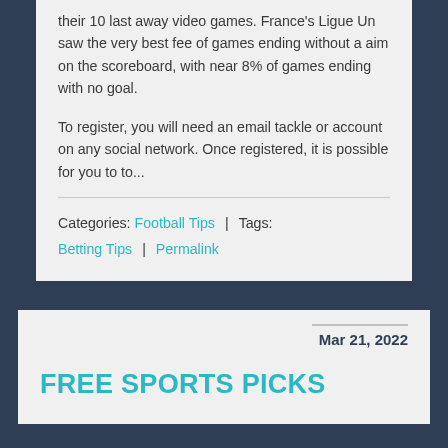their 10 last away video games. France's Ligue Un saw the very best fee of games ending without a aim on the scoreboard, with near 8% of games ending with no goal.
To register, you will need an email tackle or account on any social network. Once registered, it is possible for you to to...
Categories: Football Tips | Tags: Betting Tips | Permalink
Mar 21, 2022
FREE SPORTS PICKS